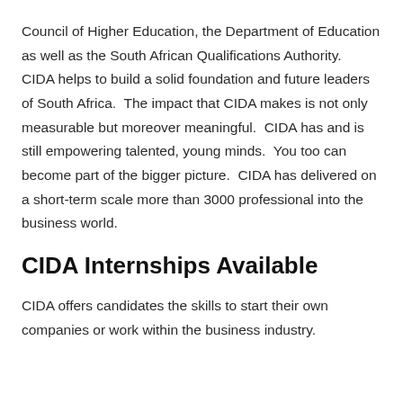Council of Higher Education, the Department of Education as well as the South African Qualifications Authority.  CIDA helps to build a solid foundation and future leaders of South Africa.  The impact that CIDA makes is not only measurable but moreover meaningful.  CIDA has and is still empowering talented, young minds.  You too can become part of the bigger picture.  CIDA has delivered on a short-term scale more than 3000 professional into the business world.
CIDA Internships Available
CIDA offers candidates the skills to start their own companies or work within the business industry.